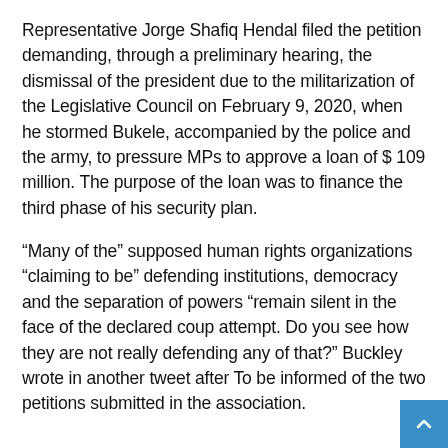Representative Jorge Shafiq Hendal filed the petition demanding, through a preliminary hearing, the dismissal of the president due to the militarization of the Legislative Council on February 9, 2020, when he stormed Bukele, accompanied by the police and the army, to pressure MPs to approve a loan of $ 109 million. The purpose of the loan was to finance the third phase of his security plan.
“Many of the” supposed human rights organizations “claiming to be” defending institutions, democracy and the separation of powers “remain silent in the face of the declared coup attempt. Do you see how they are not really defending any of that?” Buckley wrote in another tweet after To be informed of the two petitions submitted in the association.